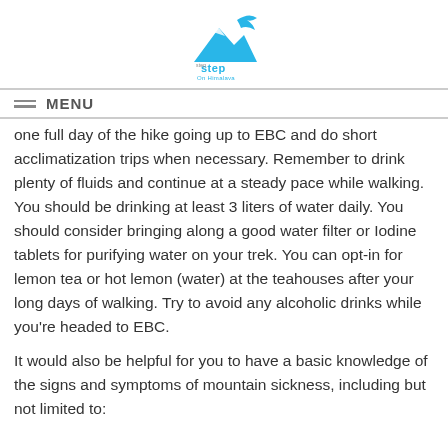[Figure (logo): Step on Himalaya logo — mountain and bird icon in blue above the text 'step On Himalaya']
MENU
one full day of the hike going up to EBC and do short acclimatization trips when necessary. Remember to drink plenty of fluids and continue at a steady pace while walking. You should be drinking at least 3 liters of water daily. You should consider bringing along a good water filter or Iodine tablets for purifying water on your trek. You can opt-in for lemon tea or hot lemon (water) at the teahouses after your long days of walking. Try to avoid any alcoholic drinks while you're headed to EBC.
It would also be helpful for you to have a basic knowledge of the signs and symptoms of mountain sickness, including but not limited to: